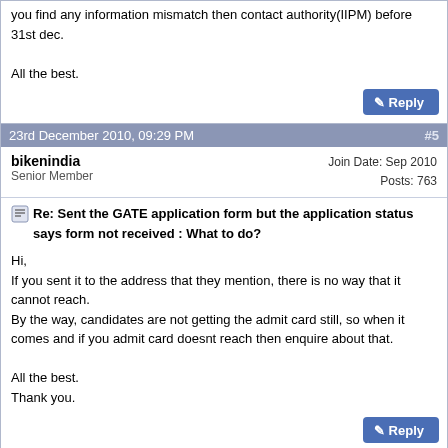you find any information mismatch then contact authority(IIPM) before 31st dec.

All the best.
23rd December 2010, 09:29 PM  #5
bikenindia
Senior Member
Join Date: Sep 2010
Posts: 763
Re: Sent the GATE application form but the application status says form not received : What to do?

Hi,
If you sent it to the address that they mention, there is no way that it cannot reach.
By the way, candidates are not getting the admit card still, so when it comes and if you admit card doesnt reach then enquire about that.

All the best.
Thank you.
23rd December 2010, 10:32 PM  #6
dreksha chaudhary
Senior Member+++
Join Date: Oct 2010
Location: offcourse in my home
Posts: 1,721